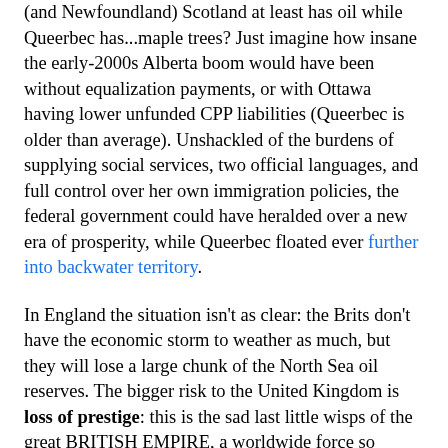(and Newfoundland) Scotland at least has oil while Queerbec has...maple trees? Just imagine how insane the early-2000s Alberta boom would have been without equalization payments, or with Ottawa having lower unfunded CPP liabilities (Queerbec is older than average). Unshackled of the burdens of supplying social services, two official languages, and full control over her own immigration policies, the federal government could have heralded over a new era of prosperity, while Queerbec floated ever further into backwater territory.
In England the situation isn't as clear: the Brits don't have the economic storm to weather as much, but they will lose a large chunk of the North Sea oil reserves. The bigger risk to the United Kingdom is loss of prestige: this is the sad last little wisps of the great BRITISH EMPIRE, a worldwide force so dominant clever bloggers treat it like names in Star Wars title crawls. American politicians still agonize over who "lost Vietnam" or "lost China", it remains to be seen if the stigma of "losing Scotland" similarly impacts David Cameron's Tories and/or Gordon Brown's Labour. Brown has recently dominated headlines as the fevered voice of "No": the voice